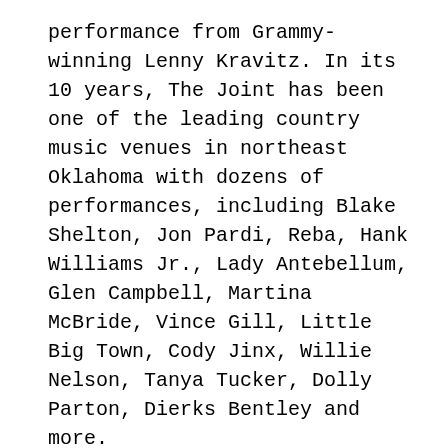performance from Grammy-winning Lenny Kravitz. In its 10 years, The Joint has been one of the leading country music venues in northeast Oklahoma with dozens of performances, including Blake Shelton, Jon Pardi, Reba, Hank Williams Jr., Lady Antebellum, Glen Campbell, Martina McBride, Vince Gill, Little Big Town, Cody Jinx, Willie Nelson, Tanya Tucker, Dolly Parton, Dierks Bentley and more.
The venue has also hosted a number of other iconic artists like Stevie Wonder, Alanis Morissette, KISS, Steven Tyler, Kid Rock, Paul Simon, Journey and Ringo Starr.
Hard Rock Hotel & Casino Tulsa is competing against The Colosseum at Caesars Palace in Las Vegas; Soaring Eagle Casino & Resort in Mt. Pleasant, Michigan; The Venetian Resort Hotel